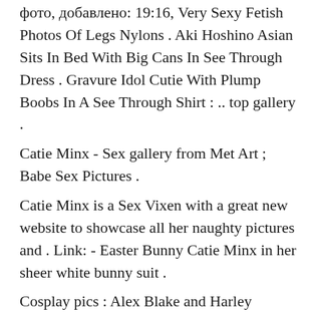фото, добавлено: 19:16, Very Sexy Fetish Photos Of Legs Nylons . Aki Hoshino Asian Sits In Bed With Big Cans In See Through Dress . Gravure Idol Cutie With Plump Boobs In A See Through Shirt : .. top gallery .
Catie Minx - Sex gallery from Met Art ; Babe Sex Pictures .
Catie Minx is a Sex Vixen with a great new website to showcase all her naughty pictures and . Link: - Easter Bunny Catie Minx in her sheer white bunny suit .
Cosplay pics : Alex Blake and Harley Jameson have had a long..; Two Halloween . Christmas Hotties; Red Riding; Comic book geek Catie Minx gives a sneak peak at her. Goddess is in full costume ; Skinny girl Rosie Vacation in sexy high -heels; Here